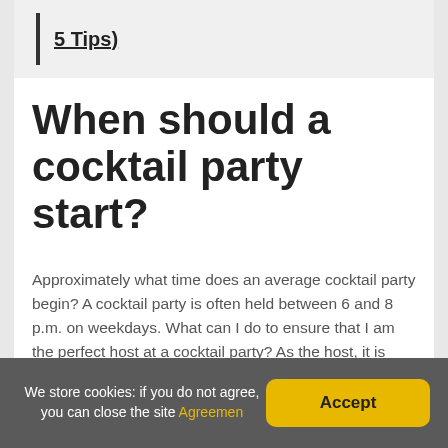5 Tips)
When should a cocktail party start?
Approximately what time does an average cocktail party begin? A cocktail party is often held between 6 and 8 p.m. on weekdays. What can I do to ensure that I am the perfect host at a cocktail party? As the host, it is your responsibility to circulate throughout the party and introduce those who are unfamiliar with one another.
Wh...
We store cookies: if you do not agree, you can close the site Agreement  Accept